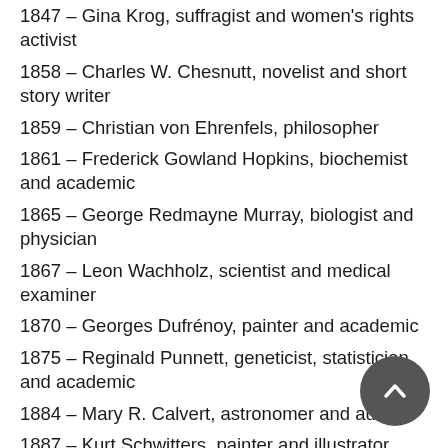1847 – Gina Krog, suffragist and women's rights activist
1858 – Charles W. Chesnutt, novelist and short story writer
1859 – Christian von Ehrenfels, philosopher
1861 – Frederick Gowland Hopkins, biochemist and academic
1865 – George Redmayne Murray, biologist and physician
1867 – Leon Wachholz, scientist and medical examiner
1870 – Georges Dufrénoy, painter and academic
1875 – Reginald Punnett, geneticist, statistician, and academic
1884 – Mary R. Calvert, astronomer and author
1887 – Kurt Schwitters, painter and illustrator
1889 – John S. Paraskevopoulos, astronomer and academic